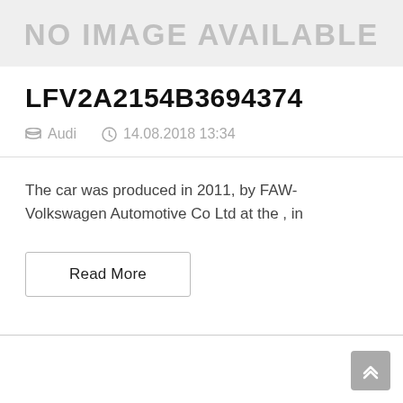[Figure (other): No image available placeholder banner with gray background and gray text reading 'NO IMAGE AVAILABLE']
LFV2A2154B3694374
Audi   14.08.2018 13:34
The car was produced in 2011, by FAW-Volkswagen Automotive Co Ltd at the , in
Read More